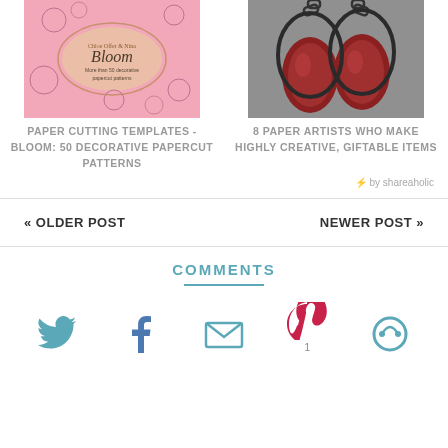[Figure (photo): Book cover for 'Bloom: More than 50 decorative papercut patterns' with pink floral design]
[Figure (photo): Dark red/maroon decorative earrings hanging on chain links, on gray background]
PAPER CUTTING TEMPLATES - BLOOM: 50 DECORATIVE PAPERCUT PATTERNS
8 PAPER ARTISTS WHO MAKE HIGHLY CREATIVE, GIFTABLE ITEMS
⚡ by shareaholic
« OLDER POST
NEWER POST »
COMMENTS
[Figure (illustration): Social sharing icons: Twitter bird, Facebook f, envelope/email, Pinterest P with count 1, circular arrow icon]